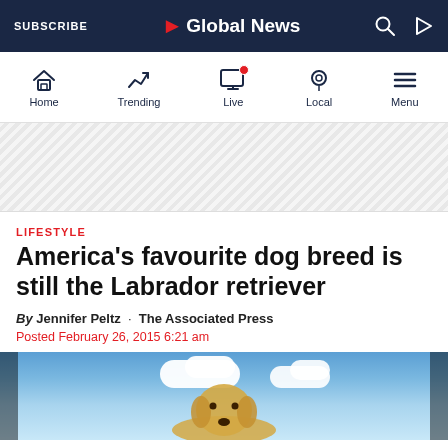SUBSCRIBE | Global News
[Figure (screenshot): Global News navigation bar with Home, Trending, Live, Local, Menu icons]
[Figure (photo): Advertisement/banner area with diagonal stripe pattern]
LIFESTYLE
America's favourite dog breed is still the Labrador retriever
By Jennifer Peltz · The Associated Press
Posted February 26, 2015 6:21 am
[Figure (photo): Photo of a yellow Labrador retriever against blue sky with clouds]